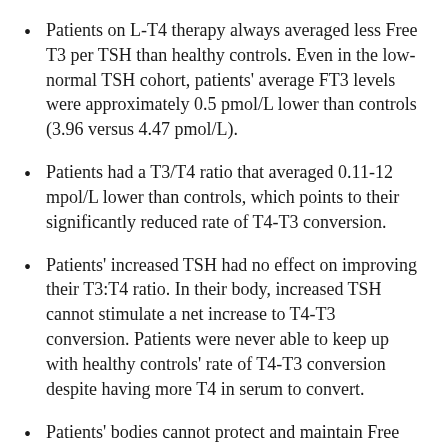Patients on L-T4 therapy always averaged less Free T3 per TSH than healthy controls. Even in the low-normal TSH cohort, patients' average FT3 levels were approximately 0.5 pmol/L lower than controls (3.96 versus 4.47 pmol/L).
Patients had a T3/T4 ratio that averaged 0.11-12 mpol/L lower than controls, which points to their significantly reduced rate of T4-T3 conversion.
Patients' increased TSH had no effect on improving their T3:T4 ratio. In their body, increased TSH cannot stimulate a net increase to T4-T3 conversion. Patients were never able to keep up with healthy controls' rate of T4-T3 conversion despite having more T4 in serum to convert.
Patients' bodies cannot protect and maintain Free